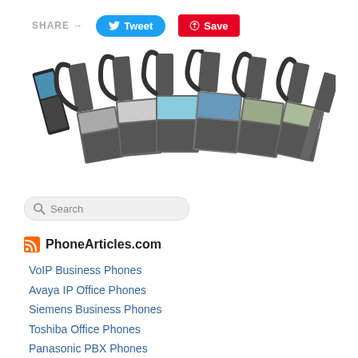SHARE →
Tweet
Save
[Figure (photo): Multiple Cisco IP/VoIP business desk phones arranged in an arc on a white background]
[Figure (screenshot): Search box with magnifying glass icon and 'Search' placeholder text]
PhoneArticles.com
VoIP Business Phones
Avaya IP Office Phones
Siemens Business Phones
Toshiba Office Phones
Panasonic PBX Phones
ShoreTel Office Phone Systems
Cisco Business Phones
The PBX Phone Revolution